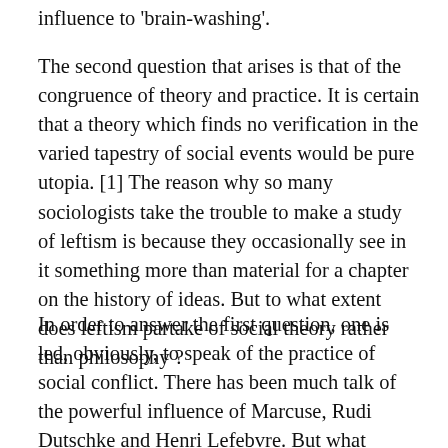influence to 'brain-washing'.
The second question that arises is that of the congruence of theory and practice. It is certain that a theory which finds no verification in the varied tapestry of social events would be pure utopia. [1] The reason why so many sociologists take the trouble to make a study of leftism is because they occasionally see in it something more than material for a chapter on the history of ideas. But to what extent does leftism partake of social theory rather than philosophy ?
In order to answer the first question, one is led, obviously, to speak of the practice of social conflict. There has been much talk of the powerful influence of Marcuse, Rudi Dutschke and Henri Lefebvre. But what praxis are we talking about ? That of university